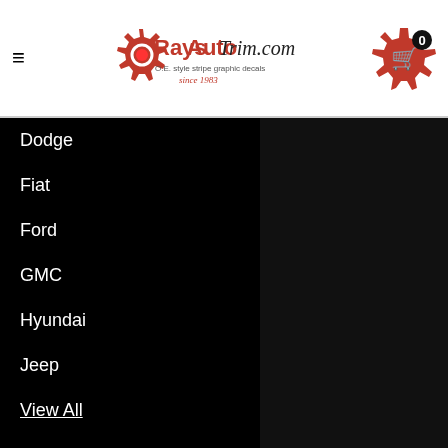RaysAutoTrim.com — O.E. style stripe graphic decals since 1983
Dodge
Fiat
Ford
GMC
Hyundai
Jeep
View All
BRANDS
Ray's Auto Trim Stripe Kits
View All